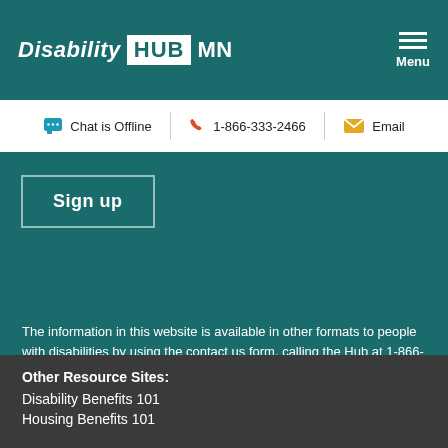Disability HUB MN
Chat is Offline | 1-866-333-2466 | Email
Sign up
The information in this website is available in other formats to people with disabilities by using the contact us form, calling the Hub at 1-866-333-2466 or using a preferred relay service.
Other Resource Sites:
Disability Benefits 101
Housing Benefits 101